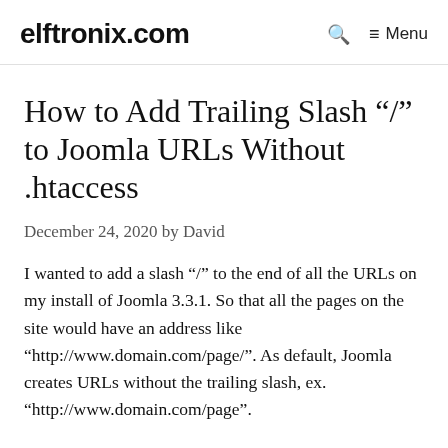elftronix.com   🔍   ≡ Menu
How to Add Trailing Slash “/” to Joomla URLs Without .htaccess
December 24, 2020 by David
I wanted to add a slash “/” to the end of all the URLs on my install of Joomla 3.3.1. So that all the pages on the site would have an address like “http://www.domain.com/page/”. As default, Joomla creates URLs without the trailing slash, ex. “http://www.domain.com/page”.